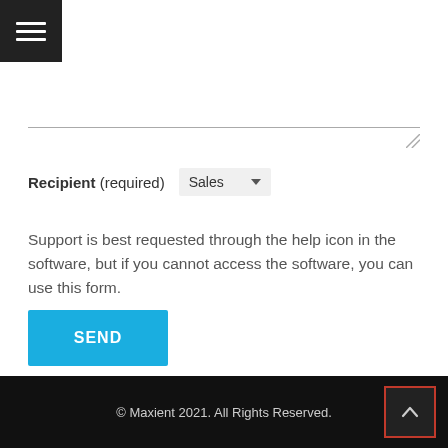[Figure (screenshot): Black hamburger menu icon button in top-left corner]
[Figure (screenshot): Textarea input field with resize handle, bottom border visible]
Recipient (required)  Sales
Support is best requested through the help icon in the software, but if you cannot access the software, you can use this form.
[Figure (screenshot): Blue SEND button]
© Maxient 2021. All Rights Reserved.
[Figure (screenshot): Scroll-to-top button with red border and upward chevron icon]